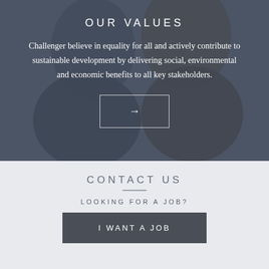[Figure (photo): Two people hugging, viewed from behind, with a dark blue-grey overlay filter applied to the image]
OUR VALUES
Challenger believe in equality for all and actively contribute to sustainable development by delivering social, environmental and economic benefits to all key stakeholders.
CONTACT US
LOOKING FOR A JOB?
I WANT A JOB